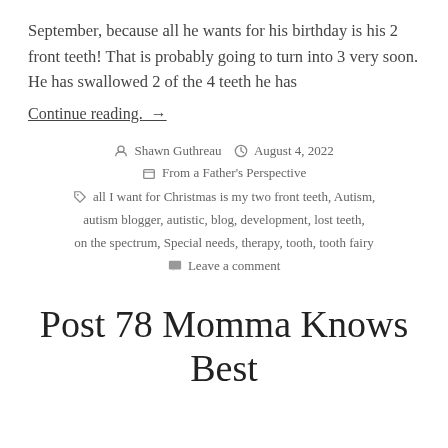September, because all he wants for his birthday is his 2 front teeth! That is probably going to turn into 3 very soon. He has swallowed 2 of the 4 teeth he has
Continue reading. →
Shawn Guthreau   August 4, 2022
From a Father's Perspective
all I want for Christmas is my two front teeth, Autism, autism blogger, autistic, blog, development, lost teeth, on the spectrum, Special needs, therapy, tooth, tooth fairy
Leave a comment
Post 78 Momma Knows Best